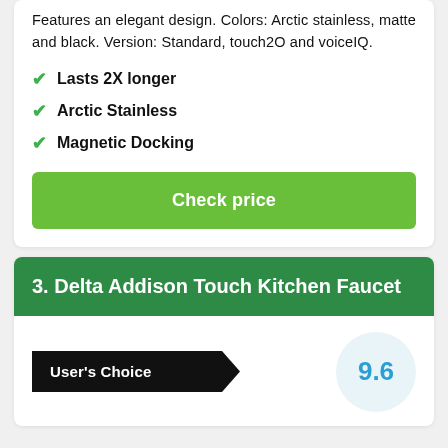Features an elegant design. Colors: Arctic stainless, matte and black. Version: Standard, touch2O and voiceIQ.
Lasts 2X longer
Arctic Stainless
Magnetic Docking
Check price
3. Delta Addison Touch Kitchen Faucet
User's Choice
9.6